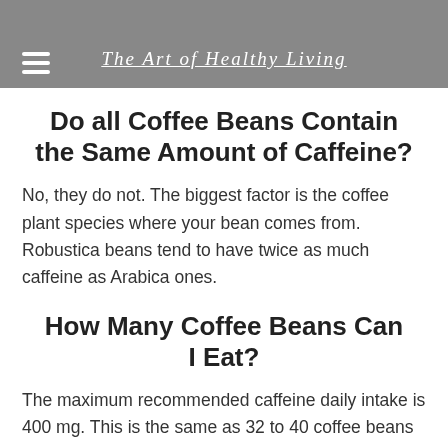The Art of Healthy Living
Do all Coffee Beans Contain the Same Amount of Caffeine?
No, they do not. The biggest factor is the coffee plant species where your bean comes from. Robustica beans tend to have twice as much caffeine as Arabica ones.
How Many Coffee Beans Can I Eat?
The maximum recommended caffeine daily intake is 400 mg. This is the same as 32 to 40 coffee beans per day for Arabica coffee beans. However, if the coffee beans are from the Robusta